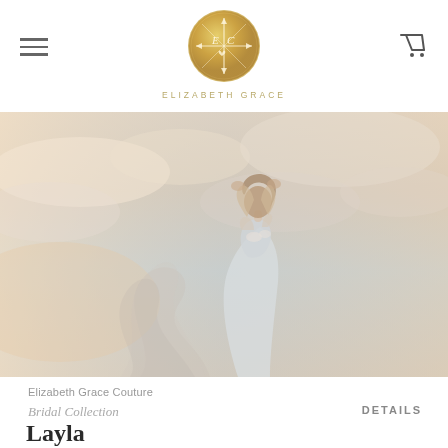Elizabeth Grace — navigation header with hamburger menu and cart icon
[Figure (logo): Elizabeth Grace Couture circular gold logo with EC monogram, arrows, and heart motif]
ELIZABETH GRACE
[Figure (photo): A bride in a flowing light blue/white gown with arms raised above her head, veil billowing dramatically in the wind against a soft pastel sky with clouds]
Elizabeth Grace Couture
Bridal Collection
DETAILS
Layla